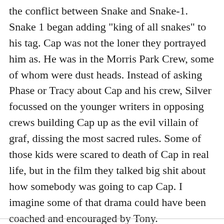the conflict between Snake and Snake-1. Snake 1 began adding "king of all snakes" to his tag. Cap was not the loner they portrayed him as. He was in the Morris Park Crew, some of whom were dust heads. Instead of asking Phase or Tracy about Cap and his crew, Silver focussed on the younger writers in opposing crews building Cap up as the evil villain of graf, dissing the most sacred rules. Some of those kids were scared to death of Cap in real life, but in the film they talked big shit about how somebody was going to cap Cap. I imagine some of that drama could have been coached and encouraged by Tony.
Eventually, Cap was run out of the crew so demonized was he by Style Wars and Beat Street.
https://www.youtube.com/playlist?list=PLLfd8EAs_NNfxgDBIasYIDck5b-nXM-2n